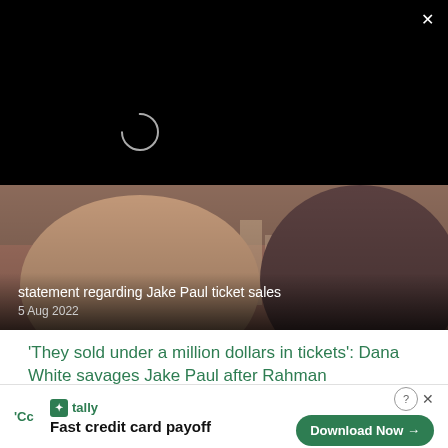[Figure (screenshot): Black video player area with loading spinner and close X button]
[Figure (photo): Two men's faces (bearded) close-up with city skyline background, article thumbnail image]
statement regarding Jake Paul ticket sales
5 Aug 2022
'They sold under a million dollars in tickets': Dana White savages Jake Paul after Rahman cancellation
1 Aug 2022
[Figure (screenshot): Tally ad banner: Fast credit card payoff, Download Now button]